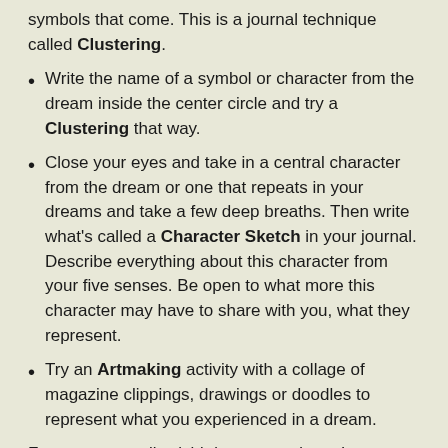symbols that come. This is a journal technique called Clustering.
Write the name of a symbol or character from the dream inside the center circle and try a Clustering that way.
Close your eyes and take in a central character from the dream or one that repeats in your dreams and take a few deep breaths. Then write what’s called a Character Sketch in your journal. Describe everything about this character from your five senses. Be open to what more this character may have to share with you, what they represent.
Try an Artmaking activity with a collage of magazine clippings, drawings or doodles to represent what you experienced in a dream.
For me, one really vivid dream stand out. It was a giant